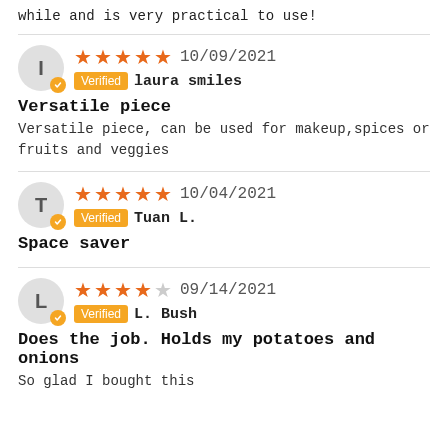while and is very practical to use!
★★★★★ 10/09/2021 Verified laura smiles
Versatile piece
Versatile piece, can be used for makeup,spices or fruits and veggies
★★★★★ 10/04/2021 Verified Tuan L.
Space saver
★★★★☆ 09/14/2021 Verified L. Bush
Does the job. Holds my potatoes and onions
So glad I bought this